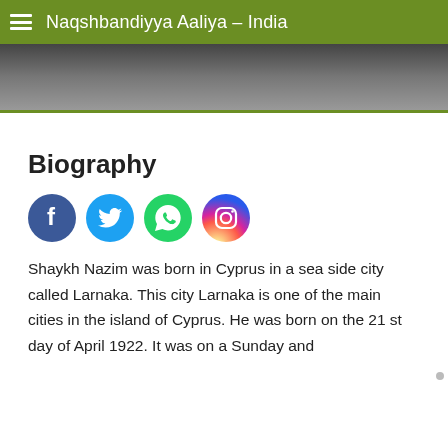Naqshbandiyya Aaliya – India
[Figure (photo): Partial photo visible at top of page, mostly obscured]
Biography
[Figure (infographic): Social media icons: Facebook, Twitter, WhatsApp, Instagram]
Shaykh Nazim was born in Cyprus in a sea side city called Larnaka. This city Larnaka is one of the main cities in the island of Cyprus. He was born on the 21 st day of April 1922. It was on a Sunday and